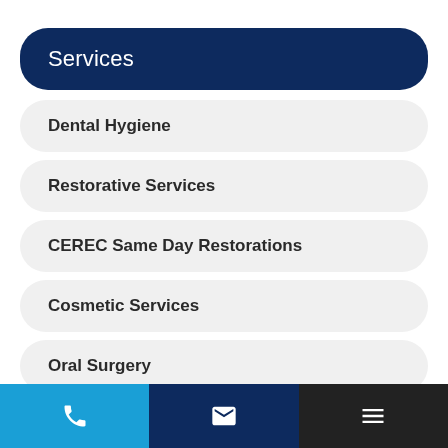Services
Dental Hygiene
Restorative Services
CEREC Same Day Restorations
Cosmetic Services
Oral Surgery
Dental Implants
Phone | Email | Menu